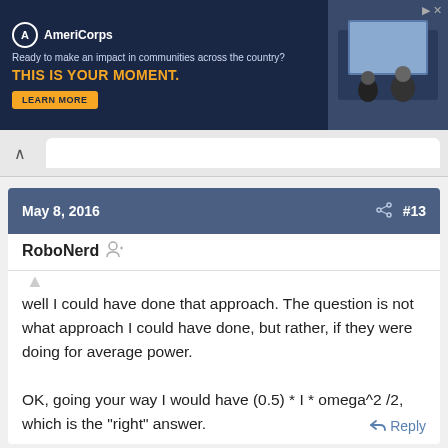[Figure (screenshot): AmeriCorps advertisement banner with dark navy background. Logo, text 'Ready to make an impact in communities across the country? THIS IS YOUR MOMENT.' with LEARN MORE button, and photo of students at computers.]
May 8, 2016  #13
RoboNerd
well I could have done that approach. The question is not what approach I could have done, but rather, if they were doing for average power.

OK, going your way I would have (0.5) * I * omega^2 /2, which is the "right" answer.
Reply